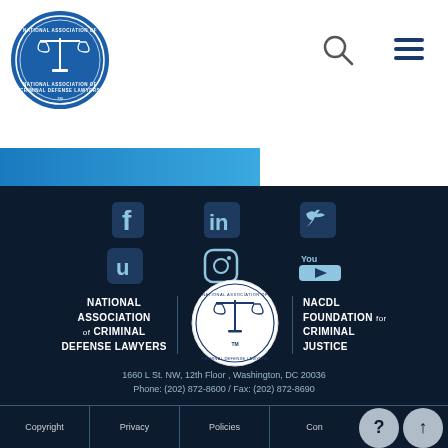[Figure (logo): NACDL circular logo with scales of justice, blue background, white text reading National Association of Criminal Defense Lawyers]
[Figure (illustration): Search magnifying glass icon]
[Figure (illustration): Hamburger menu icon (three lines)]
[Figure (illustration): Social media icons row 1: Facebook, LinkedIn, Twitter]
[Figure (illustration): Social media icons row 2: Umu/U, Instagram, YouTube]
NATIONAL ASSOCIATION OF CRIMINAL DEFENSE LAWYERS
[Figure (logo): NACDL circular logo centered between two text blocks]
NACDL FOUNDATION FOR CRIMINAL JUSTICE
1660 L St. NW, 12th Floor , Washington, DC 20036
Phone: (202) 872-8600 / Fax: (202) 872-8690
Copyright | Privacy | Policies | Contact